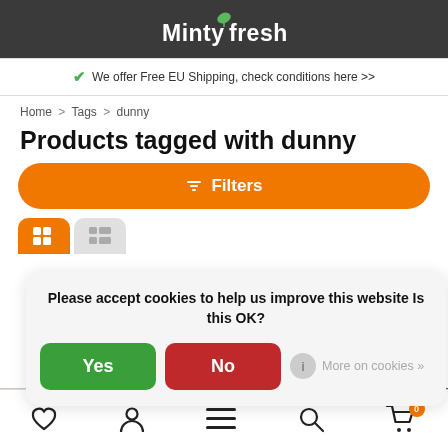Mintyfresh
We offer Free EU Shipping, check conditions here >>
Home > Tags > dunny
Products tagged with dunny
Filters
Please accept cookies to help us improve this website Is this OK?
Yes
No
More on cookies »
Bottom navigation: wishlist, account, menu, search, cart (0)